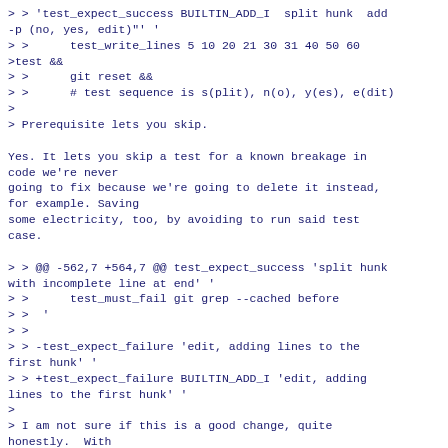> > 'test_expect_success BUILTIN_ADD_I  split hunk  add -p (no, yes, edit)"' '
> >      test_write_lines 5 10 20 21 30 31 40 50 60 >test &&
> >      git reset &&
> >      # test sequence is s(plit), n(o), y(es), e(dit)
>
> Prerequisite lets you skip.

Yes. It lets you skip a test for a known breakage in code we're never
going to fix because we're going to delete it instead, for example. Saving
some electricity, too, by avoiding to run said test case.

> > @@ -562,7 +564,7 @@ test_expect_success 'split hunk with incomplete line at end' '
> >      test_must_fail git grep --cached before
> >  '
> >
> > -test_expect_failure 'edit, adding lines to the first hunk' '
> > +test_expect_failure BUILTIN_ADD_I 'edit, adding lines to the first hunk' '
>
> I am not sure if this is a good change, quite honestly.  With
> s/failure/success/, perhaps, but not in the posted form.